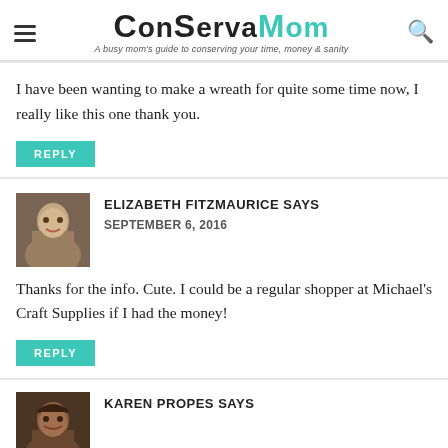ConservaMom – A busy mom's guide to conserving your time, money & sanity
I have been wanting to make a wreath for quite some time now, I really like this one thank you.
REPLY
ELIZABETH FITZMAURICE SAYS
SEPTEMBER 6, 2016
Thanks for the info. Cute. I could be a regular shopper at Michael's Craft Supplies if I had the money!
REPLY
KAREN PROPES SAYS